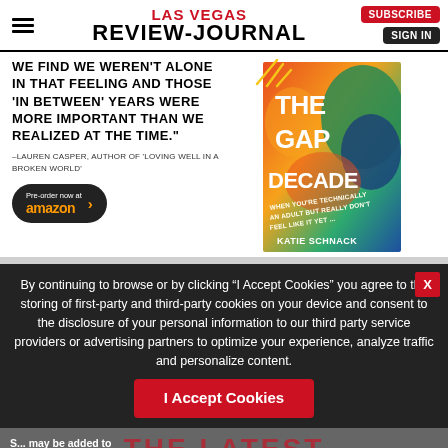LAS VEGAS REVIEW-JOURNAL
[Figure (illustration): Advertisement for 'The Gap Decade' book by Katie Schnack, featuring a quote from Lauren Casper, a Pre-order button linking to Amazon, and a book cover image.]
WE FIND WE WEREN'T ALONE IN THAT FEELING AND THOSE 'IN BETWEEN' YEARS WERE MORE IMPORTANT THAN WE REALIZED AT THE TIME."
–LAUREN CASPER, AUTHOR OF 'LOVING WELL IN A BROKEN WORLD'
By continuing to browse or by clicking "I Accept Cookies" you agree to the storing of first-party and third-party cookies on your device and consent to the disclosure of your personal information to our third party service providers or advertising partners to optimize your experience, analyze traffic and personalize content.
I Accept Cookies
S... may be added to
Thursday, Oct. 13
[Figure (logo): Vegas Chamber Business of the Year Awards logo and Nevada State Bank (NSB) logo advertisement bar]